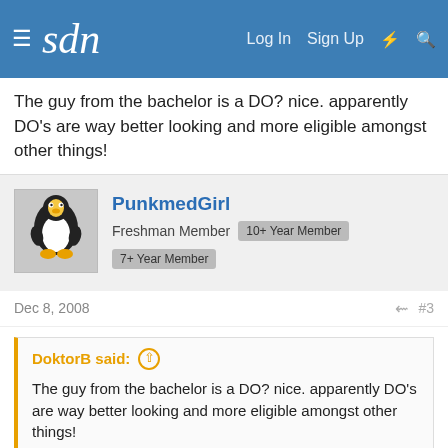sdn — Log In  Sign Up
The guy from the bachelor is a DO? nice. apparently DO's are way better looking and more eligible amongst other things!
PunkmedGirl — Freshman Member — 10+ Year Member — 7+ Year Member
Dec 8, 2008  #3
DoktorB said: ↑
The guy from the bachelor is a DO? nice. apparently DO's are way better looking and more eligible amongst other things!
No, he's a MD he went to UCSF.
Dissected — All bleeding stops eventually — 10+ Year Member